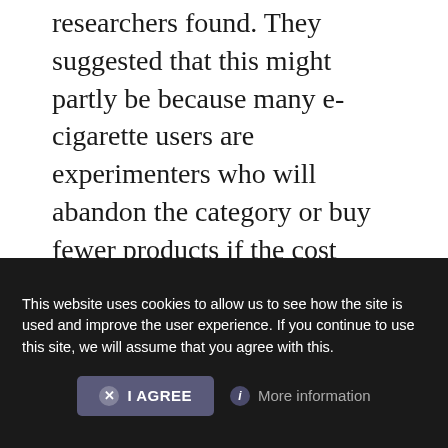researchers found. They suggested that this might partly be because many e-cigarette users are experimenters who will abandon the category or buy fewer products if the cost increases, although they also acknowledged that their survey might not represent the full picture, since it omitted online sales and vape shops.
The retailers covered included major grocery chains, drugstores and convenience stores, and the markets examined
This website uses cookies to allow us to see how the site is used and improve the user experience. If you continue to use this site, we will assume that you agree with this.